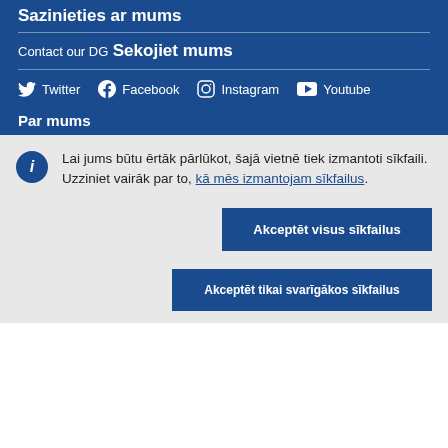Sazinieties ar mums
Contact our DG
Sekojiet mums
Twitter  Facebook  Instagram  Youtube
Par mums
Lai jums būtu ērtāk pārlūkot, šajā vietnē tiek izmantoti sīkfaili. Uzziniet vairāk par to, kā mēs izmantojam sīkfailus.
Akceptēt visus sīkfailus
Akceptēt tikai svarīgākos sīkfailus